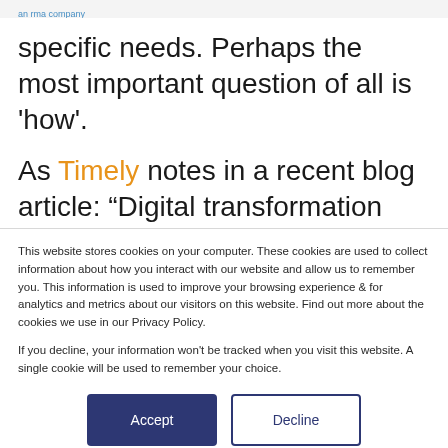an rma company
specific needs. Perhaps the most important question of all is 'how'.
As Timely notes in a recent blog article: “Digital transformation has never taken off in the legal world in the same way as it has in other sectors.” The reluctance of legal
This website stores cookies on your computer. These cookies are used to collect information about how you interact with our website and allow us to remember you. This information is used to improve your browsing experience & for analytics and metrics about our visitors on this website. Find out more about the cookies we use in our Privacy Policy.

If you decline, your information won’t be tracked when you visit this website. A single cookie will be used to remember your choice.